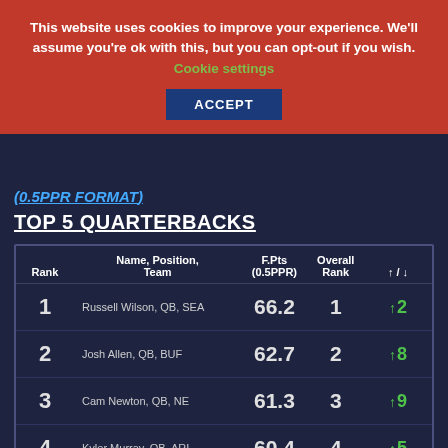This website uses cookies to improve your experience. We'll assume you're ok with this, but you can opt-out if you wish. Cookie settings ACCEPT
(0.5PPR FORMAT)
TOP 5 QUARTERBACKS
| Rank | Name, Position, Team | F.Pts (0.5PPR) | Overall Rank | ↑ / ↓ |
| --- | --- | --- | --- | --- |
| 1 | Russell Wilson, QB, SEA | 66.2 | 1 | ↑2 |
| 2 | Josh Allen, QB, BUF | 62.7 | 2 | ↑8 |
| 3 | Cam Newton, QB, NE | 61.3 | 3 | ↑9 |
| 4 | Kyler Murray, QB, ARI | 60.4 | 4 | ↑5 |